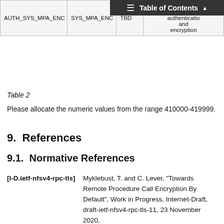Table of Contents ▲
| AUTH_SYS_MPA_ENC | SYS_MPA_ENC | TBD | AUTH_SYS with peer authentication and encryption |
| --- | --- | --- | --- |
Table 2
Please allocate the numeric values from the range 410000-419999.
9. References
9.1. Normative References
[I-D.ietf-nfsv4-rpc-tls]  Myklebust, T. and C. Lever, "Towards Remote Procedure Call Encryption By Default", Work in Progress, Internet-Draft, draft-ietf-nfsv4-rpc-tls-11, 23 November 2020,